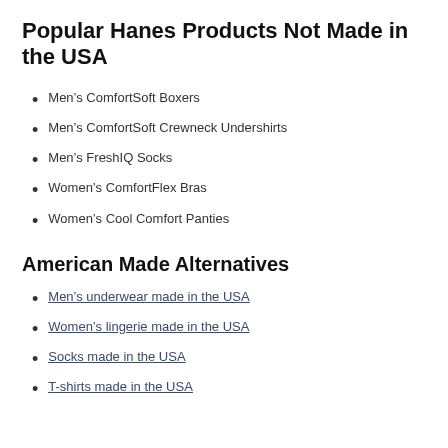Popular Hanes Products Not Made in the USA
Men’s ComfortSoft Boxers
Men’s ComfortSoft Crewneck Undershirts
Men’s FreshIQ Socks
Women’s ComfortFlex Bras
Women’s Cool Comfort Panties
American Made Alternatives
Men’s underwear made in the USA
Women’s lingerie made in the USA
Socks made in the USA
T-shirts made in the USA